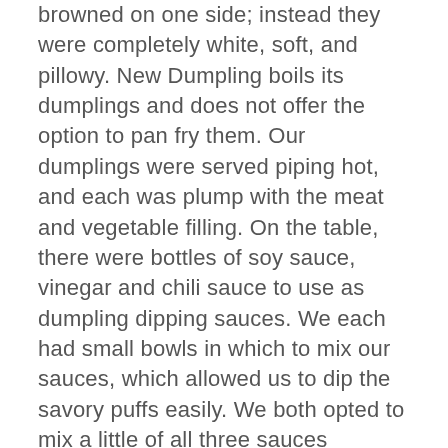browned on one side; instead they were completely white, soft, and pillowy. New Dumpling boils its dumplings and does not offer the option to pan fry them. Our dumplings were served piping hot, and each was plump with the meat and vegetable filling. On the table, there were bottles of soy sauce, vinegar and chili sauce to use as dumpling dipping sauces. We each had small bowls in which to mix our sauces, which allowed us to dip the savory puffs easily. We both opted to mix a little of all three sauces together and found this combination to be very flavorful. was delivered to the table. Once again, they were served piping hot, and were equally as plump and soft as the others. We both sampled one of the carrots with beef dumplings and immediately